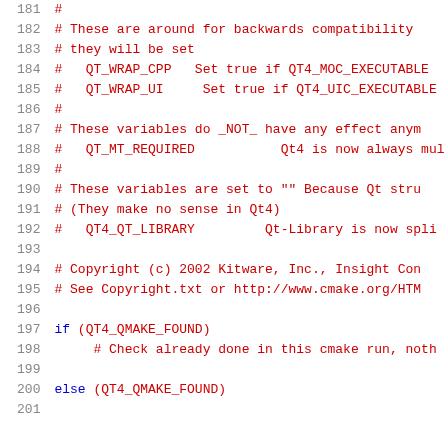Code listing lines 181-201, CMake script with comments about backwards compatibility, QT_WRAP_CPP, QT_WRAP_UI, QT_MT_REQUIRED, QT4_QT_LIBRARY variables, copyright notice, and if/else block for QT4_QMAKE_FOUND